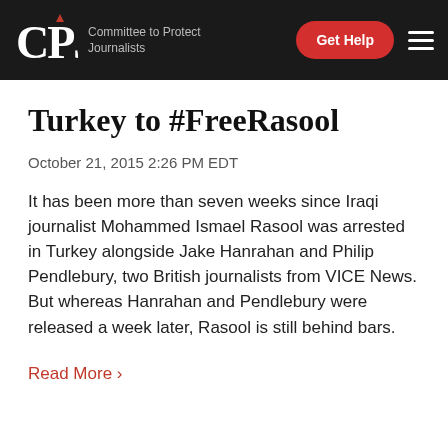CPJ — Committee to Protect Journalists
Turkey to #FreeRasool
October 21, 2015 2:26 PM EDT
It has been more than seven weeks since Iraqi journalist Mohammed Ismael Rasool was arrested in Turkey alongside Jake Hanrahan and Philip Pendlebury, two British journalists from VICE News. But whereas Hanrahan and Pendlebury were released a week later, Rasool is still behind bars.
Read More ›